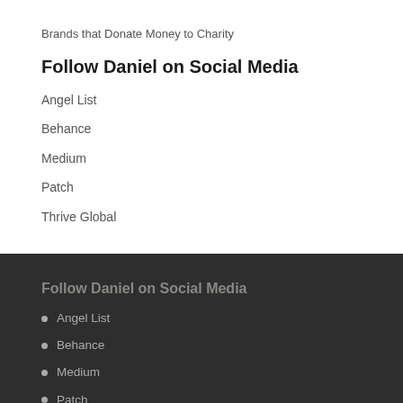Brands that Donate Money to Charity
Follow Daniel on Social Media
Angel List
Behance
Medium
Patch
Thrive Global
Follow Daniel on Social Media
Angel List
Behance
Medium
Patch